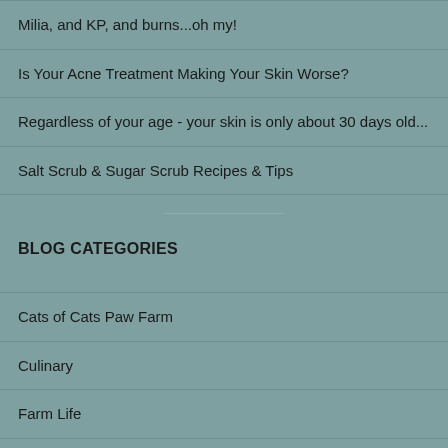Milia, and KP, and burns...oh my!
Is Your Acne Treatment Making Your Skin Worse?
Regardless of your age - your skin is only about 30 days old...
Salt Scrub & Sugar Scrub Recipes & Tips
BLOG CATEGORIES
Cats of Cats Paw Farm
Culinary
Farm Life
Ingredients